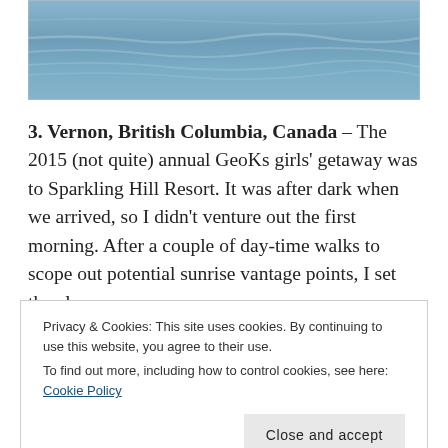[Figure (photo): Blue water or snowy surface with subtle wave/ripple texture, light blue tones]
3. Vernon, British Columbia, Canada – The 2015 (not quite) annual GeoKs girls' getaway was to Sparkling Hill Resort. It was after dark when we arrived, so I didn't venture out the first morning. After a couple of day-time walks to scope out potential sunrise vantage points, I set the alarm
Privacy & Cookies: This site uses cookies. By continuing to use this website, you agree to their use.
To find out more, including how to control cookies, see here: Cookie Policy
Trail when I spotted a browsing doe. Glad I had